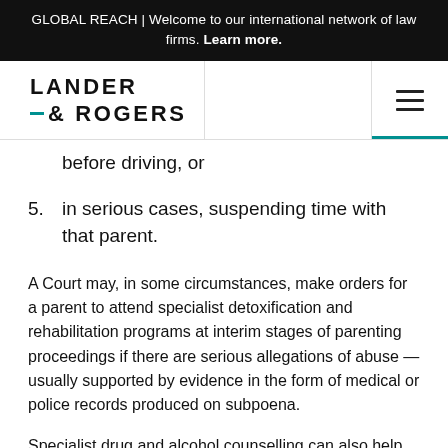GLOBAL REACH | Welcome to our international network of law firms. Learn more.
[Figure (logo): Lander & Rogers law firm logo with teal accent dash]
before driving, or
5. in serious cases, suspending time with that parent.
A Court may, in some circumstances, make orders for a parent to attend specialist detoxification and rehabilitation programs at interim stages of parenting proceedings if there are serious allegations of abuse — usually supported by evidence in the form of medical or police records produced on subpoena.
Specialist drug and alcohol counselling can also help identify obiections that need to be addressed